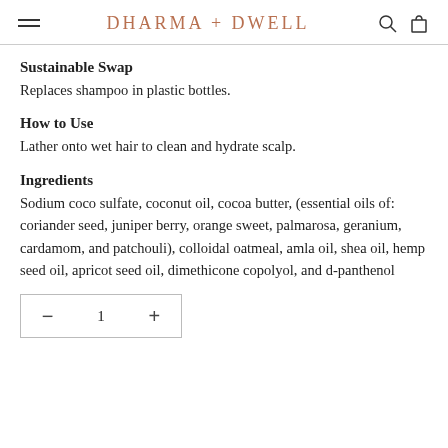DHARMA + DWELL
Sustainable Swap
Replaces shampoo in plastic bottles.
How to Use
Lather onto wet hair to clean and hydrate scalp.
Ingredients
Sodium coco sulfate, coconut oil, cocoa butter, (essential oils of: coriander seed, juniper berry, orange sweet, palmarosa, geranium, cardamom, and patchouli), colloidal oatmeal, amla oil, shea oil, hemp seed oil, apricot seed oil, dimethicone copolyol, and d-panthenol